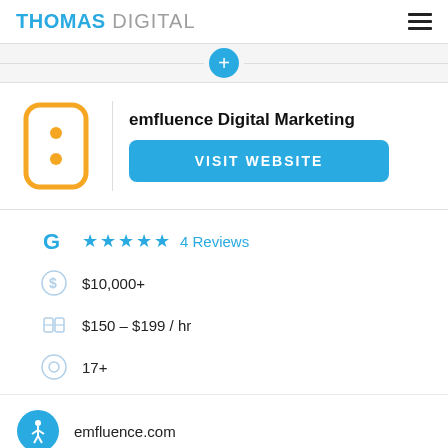THOMAS DIGITAL
[Figure (infographic): Plus button divider row]
[Figure (logo): emfluence Digital Marketing logo — yellow rounded rectangle icon with two dots]
emfluence Digital Marketing
VISIT WEBSITE
★★★★★ 4 Reviews
$10,000+
$150 – $199 / hr
17+
emfluence.com
expert@emfluence.com